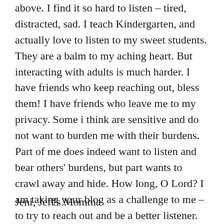above. I find it so hard to listen – tired, distracted, sad. I teach Kindergarten, and actually love to listen to my sweet students. They are a balm to my aching heart. But interacting with adults is much harder. I have friends who keep reaching out, bless them! I have friends who leave me to my privacy. Some i think are sensitive and do not want to burden me with their burdens. Part of me does indeed want to listen and bear others' burdens, but part wants to crawl away and hide. How long, O Lord? I am taking your blog as a challenge to me – to try to reach out and be a better listener. thanks once again, Melanie .
Jeni, Jeff's Momma